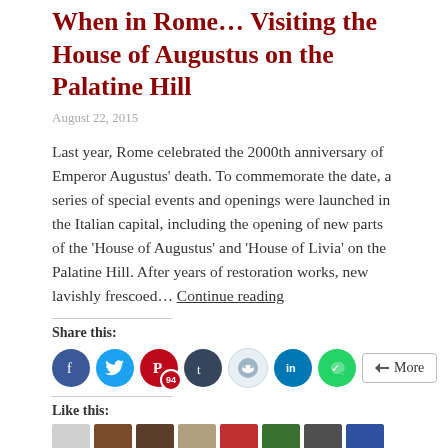When in Rome… Visiting the House of Augustus on the Palatine Hill
August 22, 2015
Last year, Rome celebrated the 2000th anniversary of Emperor Augustus' death. To commemorate the date, a series of special events and openings were launched in the Italian capital, including the opening of new parts of the 'House of Augustus' and 'House of Livia' on the Palatine Hill. After years of restoration works, new lavishly frescoed… Continue reading
Share this:
[Figure (infographic): Row of social media share buttons: Facebook (blue), Twitter (light blue), Pinterest (red, badge 94), Tumblr (dark blue), Reddit (light blue), LinkedIn (blue), WhatsApp (green), and a More button]
Like this:
[Figure (infographic): Row of user avatar thumbnails for Like section]